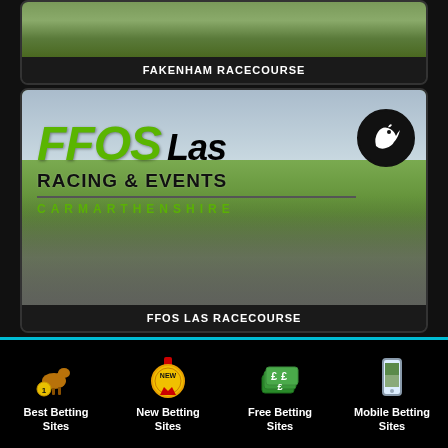[Figure (photo): Green racecourse landscape image for Fakenham Racecourse card]
FAKENHAM RACECOURSE
[Figure (photo): Ffos Las Racing & Events Carmarthenshire racecourse promotional image with crowd and logo overlay]
FFOS LAS RACECOURSE
[Figure (infographic): Bottom navigation bar with four icons: Best Betting Sites (horse with number 1), New Betting Sites (NEW medal), Free Betting Sites (money notes), Mobile Betting Sites (mobile phone)]